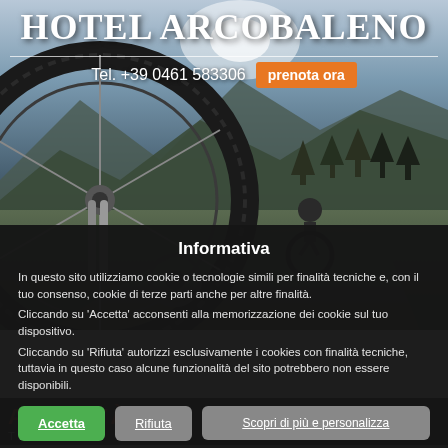[Figure (photo): Mountain biking hero image with close-up of bike wheel and riders on a mountain trail with trees and sky in background]
HOTEL ARCOBALENO
Tel. +39 0461 583306
prenota ora
Informativa
In questo sito utilizziamo cookie o tecnologie simili per finalità tecniche e, con il tuo consenso, cookie di terze parti anche per altre finalità.
Cliccando su 'Accetta' acconsenti alla memorizzazione dei cookie sul tuo dispositivo.
Cliccando su 'Rifiuta' autorizzi esclusivamente i cookies con finalità tecniche, tuttavia in questo caso alcune funzionalità del sito potrebbero non essere disponibili.
Accetta
Rifiuta
Scopri di più e personalizza
ATTIVITÀ
TRENTINO